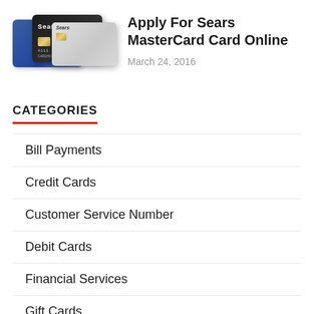[Figure (photo): Three credit cards displayed fanned out — a blue card on the left, a black Sears card in the middle, and a grey card on the right]
Apply For Sears MasterCard Card Online
March 24, 2016
CATEGORIES
Bill Payments
Credit Cards
Customer Service Number
Debit Cards
Financial Services
Gift Cards
Online Account
Online Services